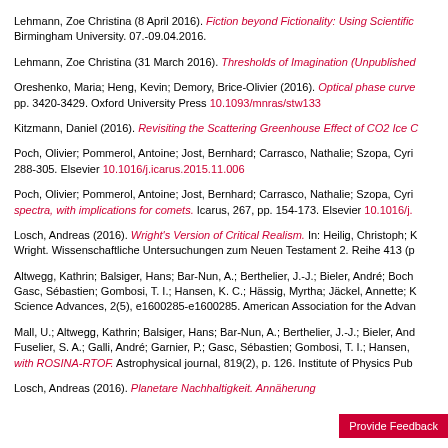Lehmann, Zoe Christina (8 April 2016). Fiction beyond Fictionality: Using Scientific... Birmingham University. 07.-09.04.2016.
Lehmann, Zoe Christina (31 March 2016). Thresholds of Imagination (Unpublished...
Oreshenko, Maria; Heng, Kevin; Demory, Brice-Olivier (2016). Optical phase curve... pp. 3420-3429. Oxford University Press 10.1093/mnras/stw133
Kitzmann, Daniel (2016). Revisiting the Scattering Greenhouse Effect of CO2 Ice C...
Poch, Olivier; Pommerol, Antoine; Jost, Bernhard; Carrasco, Nathalie; Szopa, Cyri... 288-305. Elsevier 10.1016/j.icarus.2015.11.006
Poch, Olivier; Pommerol, Antoine; Jost, Bernhard; Carrasco, Nathalie; Szopa, Cyri... spectra, with implications for comets. Icarus, 267, pp. 154-173. Elsevier 10.1016/j.
Losch, Andreas (2016). Wright's Version of Critical Realism. In: Heilig, Christoph; K... Wright. Wissenschaftliche Untersuchungen zum Neuen Testament 2. Reihe 413 (p...
Altwegg, Kathrin; Balsiger, Hans; Bar-Nun, A.; Berthelier, J.-J.; Bieler, André; Boch... Gasc, Sébastien; Gombosi, T. I.; Hansen, K. C.; Hässig, Myrtha; Jäckel, Annette; K... Science Advances, 2(5), e1600285-e1600285. American Association for the Advan...
Mall, U.; Altwegg, Kathrin; Balsiger, Hans; Bar-Nun, A.; Berthelier, J.-J.; Bieler, And... Fuselier, S. A.; Galli, André; Garnier, P.; Gasc, Sébastien; Gombosi, T. I.; Hansen,... with ROSINA-RTOF. Astrophysical journal, 819(2), p. 126. Institute of Physics Pub...
Losch, Andreas (2016). Planetare Nachhaltigkeit. Annäherung...